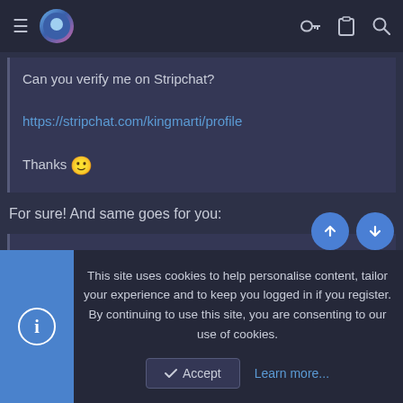Navigation bar with hamburger menu, logo avatar, key icon, clipboard icon, search icon
Can you verify me on Stripchat?
https://stripchat.com/kingmarti/profile
Thanks 🙂
For sure! And same goes for you:
AmberCutie said: ↩
Let me know if anything seems broken in the Stripchat forum in there, aside from it being empty since it's brand new 🙂
This site uses cookies to help personalise content, tailor your experience and to keep you logged in if you register.
By continuing to use this site, you are consenting to our use of cookies.
✓ Accept   Learn more...